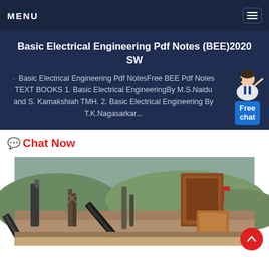MENU
Basic Electrical Engineering Pdf Notes (BEE)2020 SW
Basic Electrical Engineering Pdf NotesFree BEE Pdf Notes TEXT BOOKS 1. Basic Electrical EngineeringBy M.S.Naidu and S. Kamakshiah TMH. 2. Basic Electrical Engineering By T.K.Nagasarkar...
Chat Now
[Figure (photo): Outdoor industrial mining/quarrying site with conveyor belts, heavy machinery, and construction equipment on dirt terrain with hills in background.]